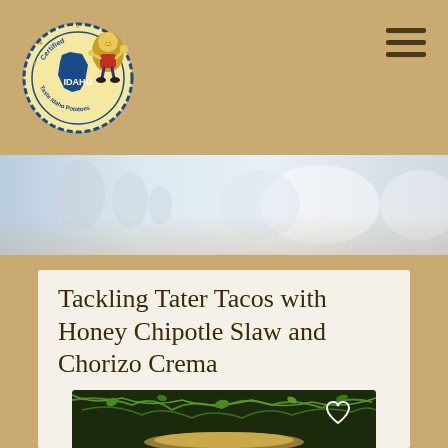[Figure (logo): Certified Idaho Potatoes logo with cartoon potato mascot character giving thumbs up]
[Figure (photo): Blurred hero banner photo showing family figures in a light blue/white background]
Tackling Tater Tacos with Honey Chipotle Slaw and Chorizo Crema
[Figure (photo): Food photo showing tacos with green herbs/cilantro and golden potato, partially visible at bottom of page]